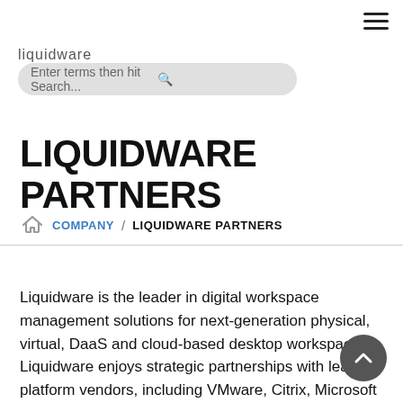[Figure (logo): Liquidware logo text in grey]
[Figure (screenshot): Search input box with placeholder 'Enter terms then hit Search...' and search icon]
LIQUIDWARE PARTNERS
Home / COMPANY / LIQUIDWARE PARTNERS (breadcrumb navigation)
Liquidware is the leader in digital workspace management solutions for next-generation physical, virtual, DaaS and cloud-based desktop workspaces. Liquidware enjoys strategic partnerships with leading platform vendors, including VMware, Citrix, Microsoft WVD, Nutanix and Amazon WorkSpaces and well as other infrastructure resource providers. Our solutions